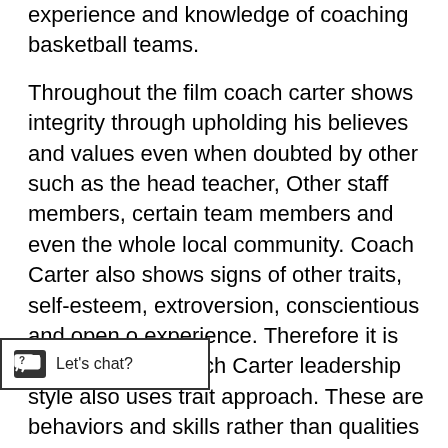experience and knowledge of coaching basketball teams.
Throughout the film coach carter shows integrity through upholding his believes and values even when doubted by other such as the head teacher, Other staff members, certain team members and even the whole local community. Coach Carter also shows signs of other traits, self-esteem, extroversion, conscientious and open o experience. Therefore it is arguable that Coach Carter leadership style also uses trait approach. These are behaviors and skills rather than qualities therefore it is n how the individual uses these behaviors to determine whether they are an effective leader.